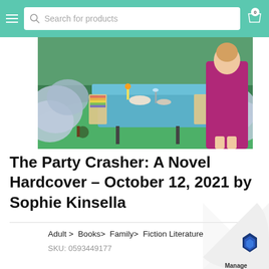Search for products
[Figure (illustration): Book cover for The Party Crasher showing a garden party scene with a woman in a magenta dress, outdoor table setting, and blue hydrangeas]
The Party Crasher: A Novel Hardcover – October 12, 2021 by Sophie Kinsella
Adult > Books> Family> Fiction Literature
SKU: 0593449177